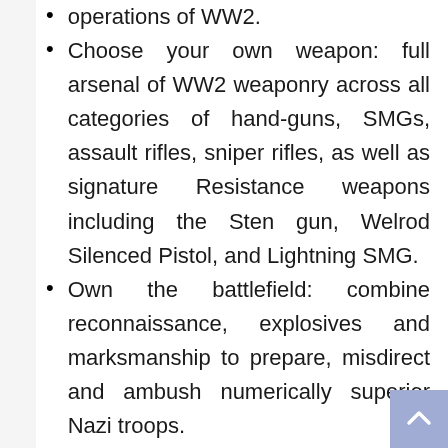operations of WW2.
Choose your own weapon: full arsenal of WW2 weaponry across all categories of hand-guns, SMGs, assault rifles, sniper rifles, as well as signature Resistance weapons including the Sten gun, Welrod Silenced Pistol, and Lightning SMG.
Own the battlefield: combine reconnaissance, explosives and marksmanship to prepare, misdirect and ambush numerically superior Nazi troops.
Engaging, destructible environments and advanced tactical AI means combat is always a rewarding and dynamic experience.
Highly replayable 10 hour Single-Player Campaign and 12-player Online